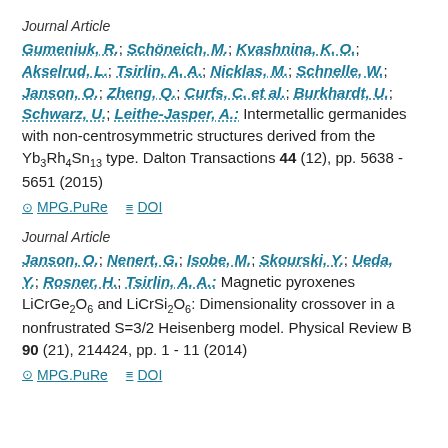Journal Article
Gumeniuk, R.; Schöneich, M.; Kvashnina, K. O.; Akselrud, L.; Tsirlin, A. A.; Nicklas, M.; Schnelle, W.; Janson, O.; Zheng, Q.; Curfs, C. et al.; Burkhardt, U.; Schwarz, U.; Leithe-Jasper, A.: Intermetallic germanides with non-centrosymmetric structures derived from the Yb3Rh4Sn13 type. Dalton Transactions 44 (12), pp. 5638 - 5651 (2015)
MPG.PuRe   DOI
Journal Article
Janson, O.; Nenert, G.; Isobe, M.; Skourski, Y.; Ueda, Y.; Rosner, H.; Tsirlin, A. A.: Magnetic pyroxenes LiCrGe2O6 and LiCrSi2O6: Dimensionality crossover in a nonfrustrated S=3/2 Heisenberg model. Physical Review B 90 (21), 214424, pp. 1 - 11 (2014)
MPG.PuRe   DOI